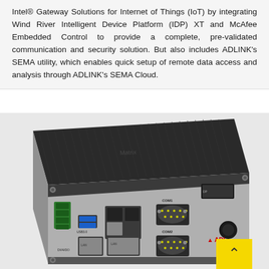Intel® Gateway Solutions for Internet of Things (IoT) by integrating Wind River Intelligent Device Platform (IDP) XT and McAfee Embedded Control to provide a complete, pre-validated communication and security solution. But also includes ADLINK's SEMA utility, which enables quick setup of remote data access and analysis through ADLINK's SEMA Cloud.
[Figure (photo): Photo of an embedded computing box (Matrix branding) showing the rear I/O panel with USB 3.0 ports, USB 2.0 ports, two Ethernet ports, two DB-9 serial (COM1/COM2) ports, a DisplayPort, and green terminal block connectors on the left side. The unit has a ribbed aluminum top/lid with ADLINK branding visible. A yellow scroll-to-top button overlay appears in the bottom-right corner.]